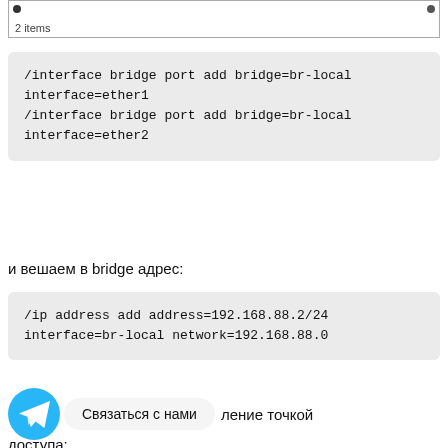[Figure (screenshot): Top strip of a table UI showing two bullet markers and '2 items' label]
/interface bridge port add bridge=br-local interface=ether1
/interface bridge port add bridge=br-local interface=ether2
и вешаем в bridge адрес:
/ip address add address=192.168.88.2/24 interface=br-local network=192.168.88.0
[Figure (illustration): Telegram icon (blue circle with paper plane) and 'Связаться с нами' bubble, followed by partial text 'ление точкой доступа:']